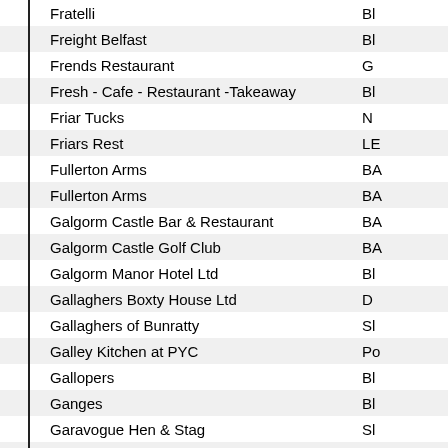| Name | Code |
| --- | --- |
| Fratelli | Bl |
| Freight Belfast | Bl |
| Frends Restaurant | G |
| Fresh - Cafe - Restaurant -Takeaway | Bl |
| Friar Tucks | N |
| Friars Rest | LE |
| Fullerton Arms | BA |
| Fullerton Arms | BA |
| Galgorm Castle Bar & Restaurant | BA |
| Galgorm Castle Golf Club | BA |
| Galgorm Manor Hotel Ltd | Bl |
| Gallaghers Boxty House Ltd | D |
| Gallaghers of Bunratty | Sl |
| Galley Kitchen at PYC | Po |
| Gallopers | Bl |
| Ganges | Bl |
| Garavogue Hen & Stag | Sl |
| Garrick Bar (The) | Bl |